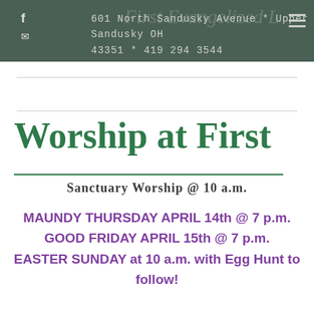f  601 North Sandusky Avenue * Upper Sandusky OH 43351 * 419 294 3544
Worship at First
Sanctuary Worship @ 10 a.m.
MAUNDY THURSDAY APRIL 14th @ 7 p.m.
GOOD FRIDAY APRIL 15th @ 7 p.m.
EASTER SUNDAY at 10 a.m. with Egg Hunt to follow!